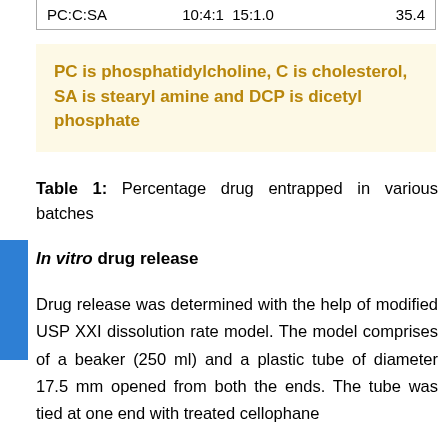| PC:C:SA | 10:4:1  15:1.0 | 35.4 |
PC is phosphatidylcholine, C is cholesterol, SA is stearyl amine and DCP is dicetyl phosphate
Table 1: Percentage drug entrapped in various batches
In vitro drug release
Drug release was determined with the help of modified USP XXI dissolution rate model. The model comprises of a beaker (250 ml) and a plastic tube of diameter 17.5 mm opened from both the ends. The tube was tied at one end with treated cellophane